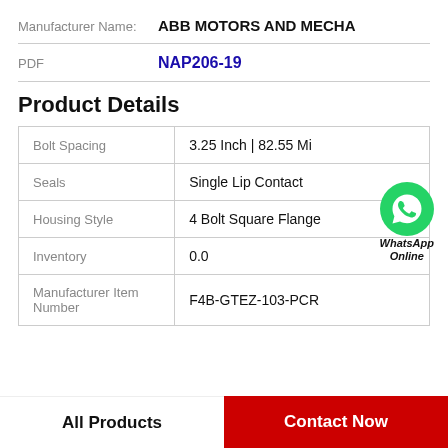Manufacturer Name: ABB MOTORS AND MECHA
PDF NAP206-19
Product Details
| Property | Value |
| --- | --- |
| Bolt Spacing | 3.25 Inch | 82.55 Mi |
| Seals | Single Lip Contact |
| Housing Style | 4 Bolt Square Flange |
| Inventory | 0.0 |
| Manufacturer Item Number | F4B-GTEZ-103-PCR |
All Products
Contact Now